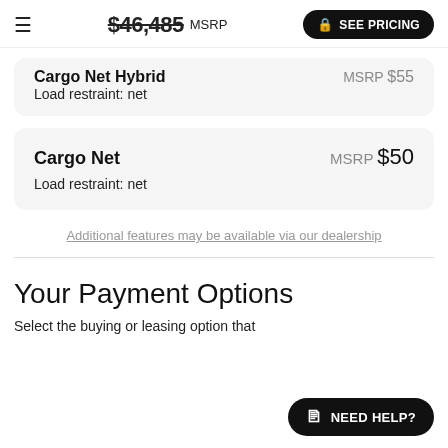$46,485 MSRP  SEE PRICING
Cargo Net Hybrid  MSRP $55
Load restraint: net
Cargo Net  MSRP $50
Load restraint: net
Additional features may be available via our dealership
Your Payment Options
Select the buying or leasing option that
NEED HELP?